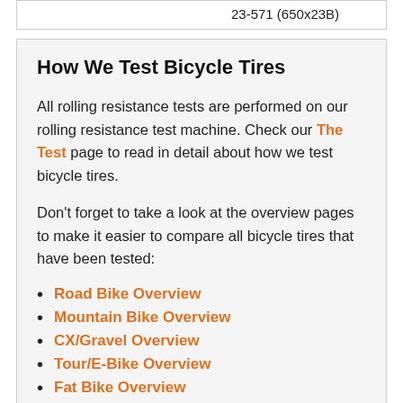| 23-571 (650x23B) |
How We Test Bicycle Tires
All rolling resistance tests are performed on our rolling resistance test machine. Check our The Test page to read in detail about how we test bicycle tires.
Don't forget to take a look at the overview pages to make it easier to compare all bicycle tires that have been tested:
Road Bike Overview
Mountain Bike Overview
CX/Gravel Overview
Tour/E-Bike Overview
Fat Bike Overview
Special Articles